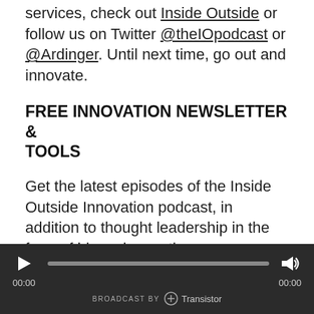services, check out Inside Outside or follow us on Twitter @theIOpodcast or @Ardinger. Until next time, go out and innovate.
FREE INNOVATION NEWSLETTER & TOOLS
Get the latest episodes of the Inside Outside Innovation podcast, in addition to thought leadership in the form of blogs, innovation resources, videos, and invitations to exclusive events. SUBSCRIBE HERE
You can also search every Inside Outside
[Figure (other): Audio player bar with play button, progress bar, speaker icon, time labels 00:00 and 00:00, and Transistor branding at the bottom]